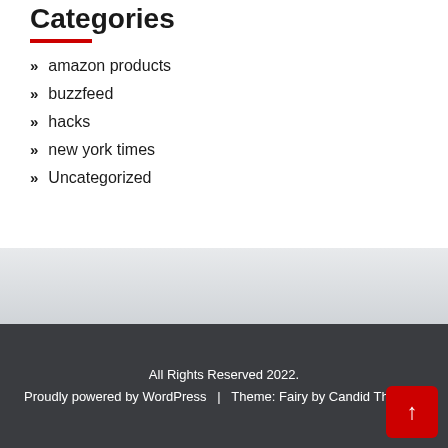Categories
amazon products
buzzfeed
hacks
new york times
Uncategorized
All Rights Reserved 2022. Proudly powered by WordPress | Theme: Fairy by Candid Themes.